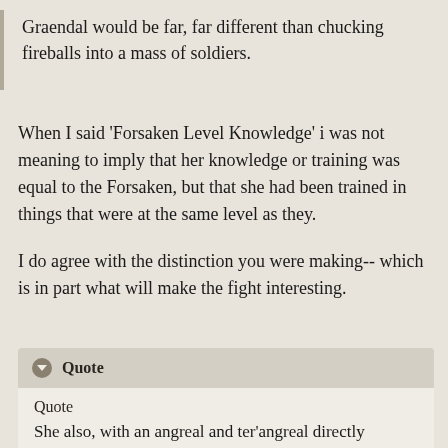Graendal would be far, far different than chucking fireballs into a mass of soldiers.
When I said 'Forsaken Level Knowledge' i was not meaning to imply that her knowledge or training was equal to the Forsaken, but that she had been trained in things that were at the same level as they.
I do agree with the distinction you were making-- which is in part what will make the fight interesting.
Quote
She also, with an angreal and ter'angreal directly designed to aid in a fight with the One Power, barely survived against a woman weaker than